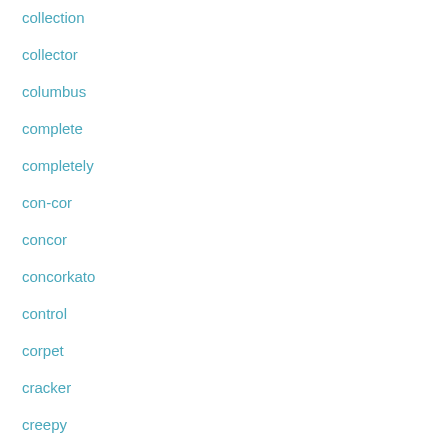collection
collector
columbus
complete
completely
con-cor
concor
concorkato
control
corpet
cracker
creepy
crown
custom